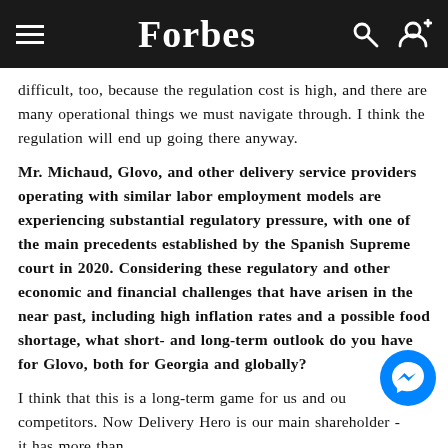Forbes
difficult, too, because the regulation cost is high, and there are many operational things we must navigate through. I think the regulation will end up going there anyway.
Mr. Michaud, Glovo, and other delivery service providers operating with similar labor employment models are experiencing substantial regulatory pressure, with one of the main precedents established by the Spanish Supreme court in 2020. Considering these regulatory and other economic and financial challenges that have arisen in the near past, including high inflation rates and a possible food shortage, what short- and long-term outlook do you have for Glovo, both for Georgia and globally?
I think that this is a long-term game for us and our competitors. Now Delivery Hero is our main shareholder - it has more than ... with more than ... of the ...